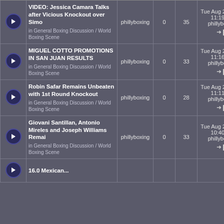|  | Topic | Author | Replies | Views | Last Post |
| --- | --- | --- | --- | --- | --- |
| [icon] | VIDEO: Jessica Camara Talks after Vicious Knockout over Simo
in General Boxing Discussion / World Boxing Scene | phillyboxing | 0 | 35 | Tue Aug 23, 2022 11:19 am
phillyboxing |
| [icon] | MIGUEL COTTO PROMOTIONS IN SAN JUAN RESULTS
in General Boxing Discussion / World Boxing Scene | phillyboxing | 0 | 33 | Tue Aug 23, 2022 11:16 am
phillyboxing |
| [icon] | Robin Safar Remains Unbeaten with 1st Round Knockout
in General Boxing Discussion / World Boxing Scene | phillyboxing | 0 | 28 | Tue Aug 23, 2022 11:11 am
phillyboxing |
| [icon] | Giovani Santillan, Antonio Mireles and Joseph Williams Remai
in General Boxing Discussion / World Boxing Scene | phillyboxing | 0 | 33 | Tue Aug 23, 2022 10:40 am
phillyboxing |
| [icon] | 16.0 Mexican... |  |  |  |  |